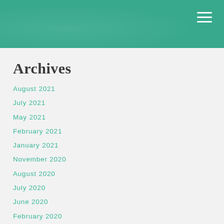[Figure (other): Teal/green header banner with a hamburger menu icon (three white horizontal lines) in the top-right corner]
Archives
August 2021
July 2021
May 2021
February 2021
January 2021
November 2020
August 2020
July 2020
June 2020
February 2020
January 2020
November 2019
September 2019
August 2019
July 2019
June 2019